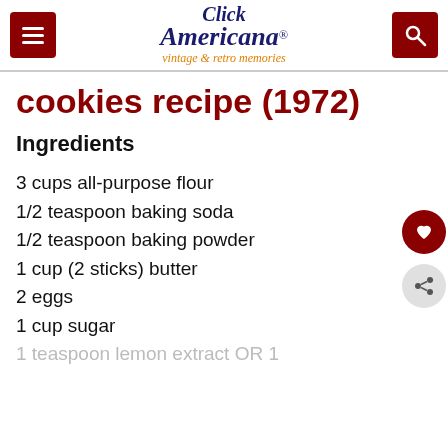Click Americana® vintage & retro memories
cookies recipe (1972)
Ingredients
3 cups all-purpose flour
1/2 teaspoon baking soda
1/2 teaspoon baking powder
1 cup (2 sticks) butter
2 eggs
1 cup sugar
1 teaspoon lemon extract OR 1